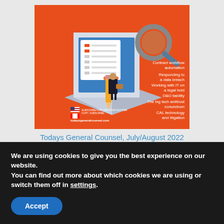[Figure (illustration): Cover of Todays General Counsel magazine, July/August 2022. Orange background with isometric illustration of a businessman in a suit standing in front of a large computer monitor showing a checklist, with a large magnifying glass. Right side lists topics: Contract workflow automation, Responding to a data breach, Working with IT on a legal hold, D&O liability, The big tech antitrust conundrum, CAL technology and litigation. US and Canadian flags shown at bottom left with subscription info text.]
Todays General Counsel, July/August 2022
We are using cookies to give you the best experience on our website.
You can find out more about which cookies we are using or switch them off in settings.
Accept